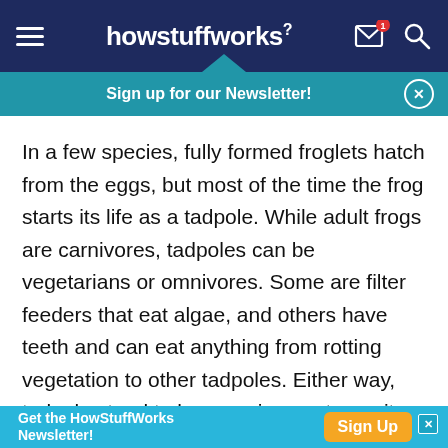howstuffworks
Sign up for our Newsletter!
In a few species, fully formed froglets hatch from the eggs, but most of the time the frog starts its life as a tadpole. While adult frogs are carnivores, tadpoles can be vegetarians or omnivores. Some are filter feeders that eat algae, and others have teeth and can eat anything from rotting vegetation to other tadpoles. Either way, tadpoles tend to be voracious eaters – it takes a lot of energy to complete their metamorphosis into frogs.
Get the HowStuffWorks Newsletter! Sign Up